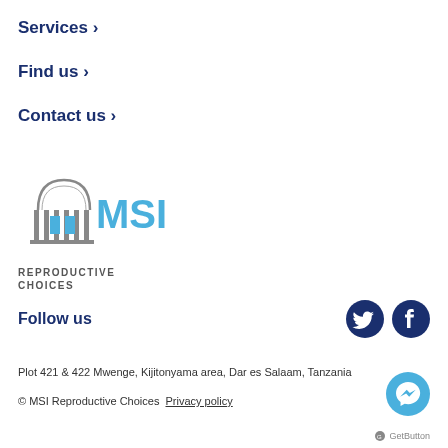Services >
Find us >
Contact us >
[Figure (logo): MSI Reproductive Choices logo with building icon in grey and blue, followed by 'MSI' in blue text and 'REPRODUCTIVE CHOICES' below]
Follow us
Plot 421 & 422 Mwenge, Kijitonyama area, Dar es Salaam, Tanzania
© MSI Reproductive Choices  Privacy policy